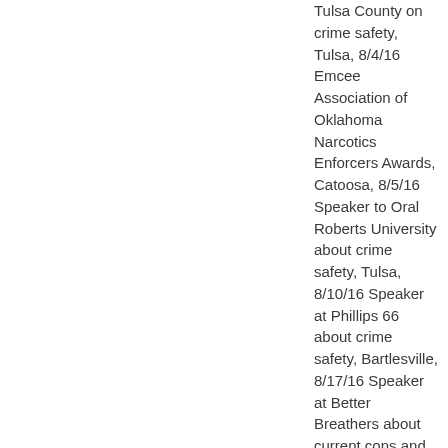Tulsa County on crime safety, Tulsa, 8/4/16 Emcee Association of Oklahoma Narcotics Enforcers Awards, Catoosa, 8/5/16 Speaker to Oral Roberts University about crime safety, Tulsa, 8/10/16 Speaker at Phillips 66 about crime safety, Bartlesville, 8/17/16 Speaker at Better Breathers about current cons and scams, Tulsa, 8/17/16 Food For Kids fundraiser at local snow cone vendor, Broken Arrow, 8/22/16 Speaker at St. John Owasso volunteers about crime safety, Owasso, 8/23/16 Speaker at First Baptist Church about cons and scams, Tulsa, 8/24/16 Tour of KOTV/KQCW news studios to Broken Arrow Police Department, Tulsa, 9/7/16 Speaker at Tulsa County Risk Managers about active shooter training, Tulsa, 9/8/16 Speaker at All Souls Unitarian